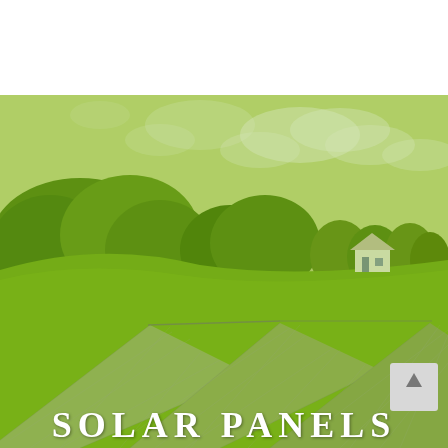[Figure (photo): Photograph of rows of solar panels in the foreground with green trees, rolling hills, a white farmhouse, and a partly cloudy sky in the background. The entire image has a green color overlay/tint.]
SOLAR PANELS